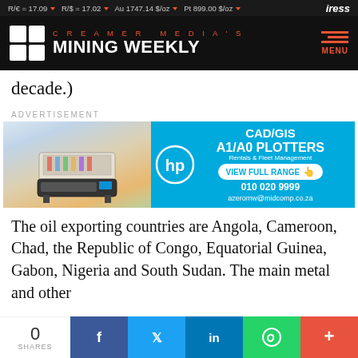R/€ = 17.09 ▼  R/$ = 17.02 ▼  Au 1747.14 $/oz ▼  Pt 899.00 $/oz ▼  iress
[Figure (logo): Creamer Media's Mining Weekly logo on black background with grid logo mark and hamburger menu]
decade.)
ADVERTISEMENT
[Figure (other): HP advertisement banner for CAD/GIS A1/A0 Plotters - Rentals & Fleet Management. VIEW FULL RANGE. 010 020 9999. azeromw@midcomp.co.za]
The oil exporting countries are Angola, Cameroon, Chad, the Republic of Congo, Equatorial Guinea, Gabon, Nigeria and South Sudan. The main metal and other
0 SHARES  [Facebook] [Twitter] [LinkedIn] [WhatsApp] [More]